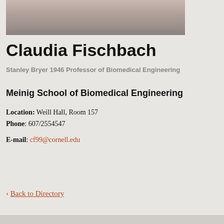[Figure (photo): Partial photo of Claudia Fischbach, showing lower face and shoulders, cropped at top of page]
Claudia Fischbach
Stanley Bryer 1946 Professor of Biomedical Engineering
Meinig School of Biomedical Engineering
Location: Weill Hall, Room 157
Phone: 607/2554547
E-mail: cf99@cornell.edu
< Back to Directory